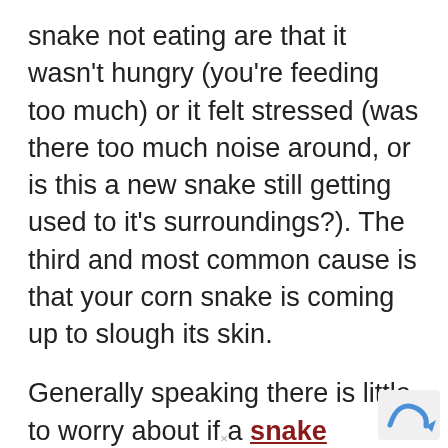snake not eating are that it wasn't hungry (you're feeding too much) or it felt stressed (was there too much noise around, or is this a new snake still getting used to it's surroundings?). The third and most common cause is that your corn snake is coming up to slough its skin.
Generally speaking there is little to worry about if a snake refuses its food once or twice. Simply take out the rodent and dispose of it, keeping a note of which snake didn't feed. Then just try it again the following week.